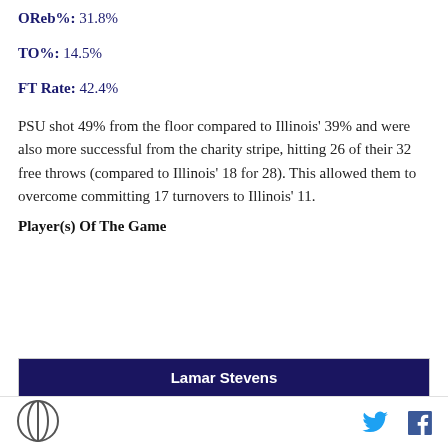OReb%: 31.8%
TO%: 14.5%
FT Rate: 42.4%
PSU shot 49% from the floor compared to Illinois' 39% and were also more successful from the charity stripe, hitting 26 of their 32 free throws (compared to Illinois' 18 for 28). This allowed them to overcome committing 17 turnovers to Illinois' 11.
Player(s) Of The Game
| Lamar Stevens |
| --- |
| 25 points |
Logo | Twitter | Facebook